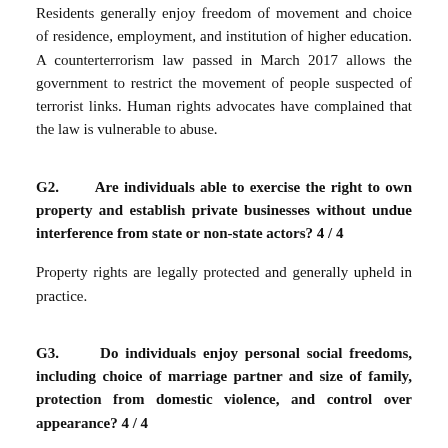Residents generally enjoy freedom of movement and choice of residence, employment, and institution of higher education. A counterterrorism law passed in March 2017 allows the government to restrict the movement of people suspected of terrorist links. Human rights advocates have complained that the law is vulnerable to abuse.
G2. Are individuals able to exercise the right to own property and establish private businesses without undue interference from state or non-state actors? 4 / 4
Property rights are legally protected and generally upheld in practice.
G3. Do individuals enjoy personal social freedoms, including choice of marriage partner and size of family, protection from domestic violence, and control over appearance? 4 / 4
Personal social freedoms are largely respected.